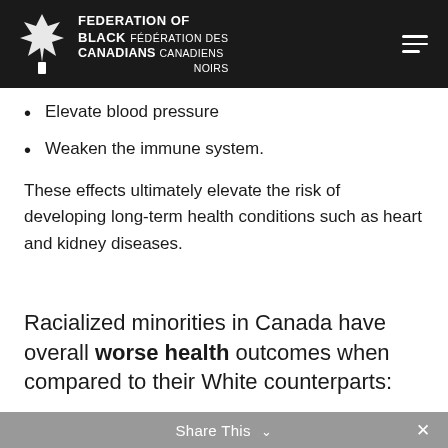FEDERATION OF BLACK CANADIANS  FÉDÉRATION DES CANADIENS NOIRS
Elevate blood pressure
Weaken the immune system.
These effects ultimately elevate the risk of developing long-term health conditions such as heart and kidney diseases.
Racialized minorities in Canada have overall worse health outcomes when compared to their White counterparts:
Share This  ×